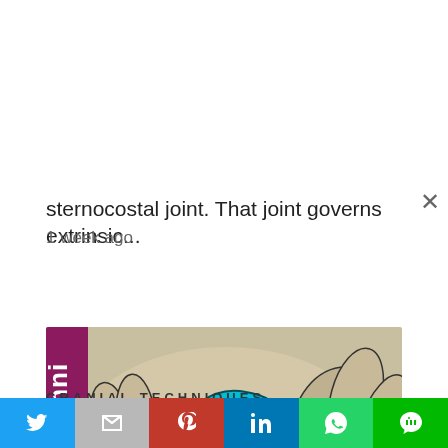sternocostal joint. That joint governs extrinsic...
1 week ago
[Figure (illustration): Medical illustration from 'Craniosacral Techniques' showing hands manipulating bones/joints at the sternocostal area, with a teal/cyan highlighted bone structure visible, and a play button overlay in the lower right corner. A vertical purple banner on the left reads 'osacral Techni' (partial text).]
CRANIAL TECHNIQUES
Twitter  M  Pinterest  LinkedIn  WhatsApp  Line (social share bar)